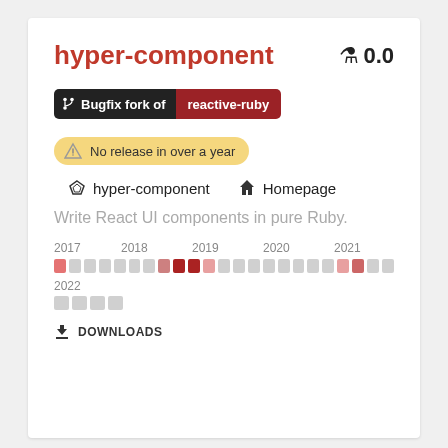hyper-component
0.0
[Figure (infographic): Badge showing 'Bugfix fork of reactive-ruby' with a fork icon on dark background and red label]
[Figure (infographic): Yellow rounded badge with diamond icon saying 'No release in over a year']
hyper-component   Homepage
Write React UI components in pure Ruby.
[Figure (other): Activity chart showing download/commit activity across years 2017-2022 with colored cells indicating activity levels]
DOWNLOADS